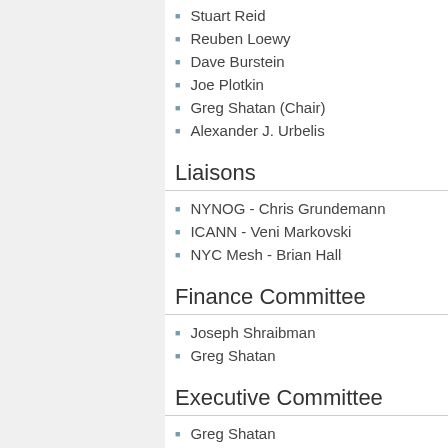Stuart Reid
Reuben Loewy
Dave Burstein
Joe Plotkin
Greg Shatan (Chair)
Alexander J. Urbelis
Liaisons
NYNOG - Chris Grundemann
ICANN - Veni Markovski
NYC Mesh - Brian Hall
Finance Committee
Joseph Shraibman
Greg Shatan
Executive Committee
Greg Shatan
Stuart Reid
Chapter Administrators